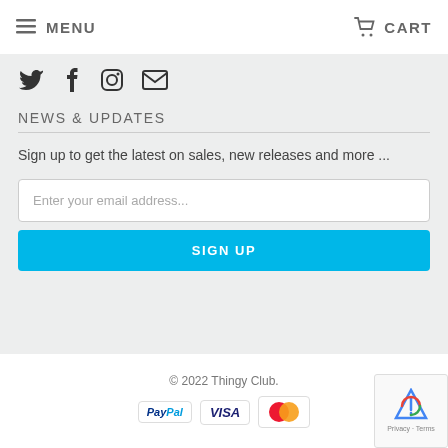MENU  CART
[Figure (other): Social media icons: Twitter bird, Facebook f, Instagram camera, email envelope]
NEWS & UPDATES
Sign up to get the latest on sales, new releases and more ...
Enter your email address...
SIGN UP
© 2022 Thingy Club.
[Figure (other): Payment icons: PayPal, VISA, Mastercard]
[Figure (other): reCAPTCHA badge with Privacy and Terms links]